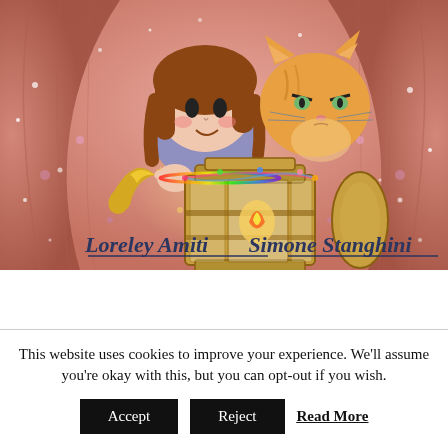[Figure (illustration): Children's book cover illustration showing a cartoon girl with brown hair and a grumpy-looking orange cat, both peering over a magical lantern with a crescent moon, surrounded by sparkles. Pink cave-like walls in background. Text at bottom: 'Loreley Amiti' and 'Simone Stanghini'.]
This website uses cookies to improve your experience. We'll assume you're okay with this, but you can opt-out if you wish.
Accept
Reject
Read More